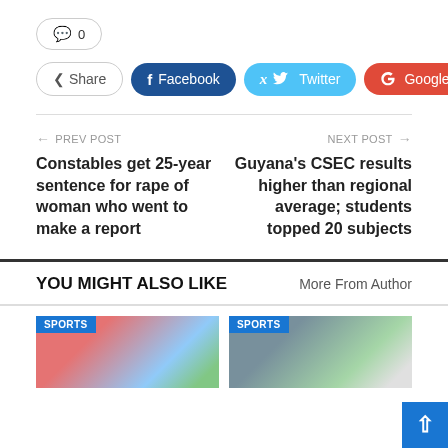💬 0
Share  f Facebook  Twitter  G Google+  +
← PREV POST
Constables get 25-year sentence for rape of woman who went to make a report
NEXT POST →
Guyana's CSEC results higher than regional average; students topped 20 subjects
YOU MIGHT ALSO LIKE
More From Author
[Figure (photo): SPORTS badge over a photo with colorful elements]
[Figure (photo): SPORTS badge over a photo with person in red cap]